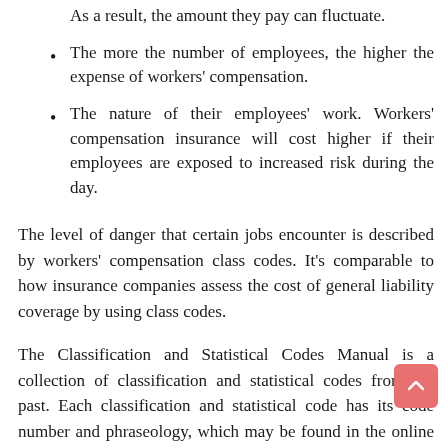As a result, the amount they pay can fluctuate.
The more the number of employees, the higher the expense of workers' compensation.
The nature of their employees' work. Workers' compensation insurance will cost higher if their employees are exposed to increased risk during the day.
The level of danger that certain jobs encounter is described by workers' compensation class codes. It's comparable to how insurance companies assess the cost of general liability coverage by using class codes.
The Classification and Statistical Codes Manual is a collection of classification and statistical codes from the past. Each classification and statistical code has its code number and phraseology, which may be found in the online manual. To determine whether a code is a state special, a federal